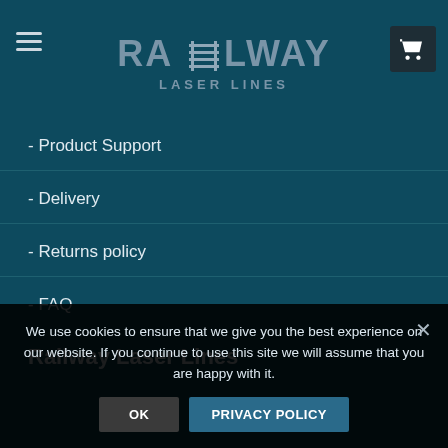Railway Laser Lines
- Product Support
- Delivery
- Returns policy
- FAQ
Railway Laser Lines
We use cookies to ensure that we give you the best experience on our website. If you continue to use this site we will assume that you are happy with it.
OK   PRIVACY POLICY